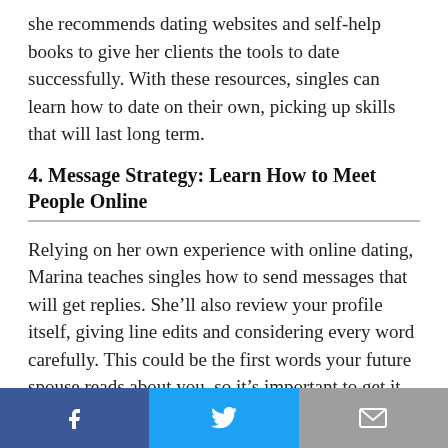she recommends dating websites and self-help books to give her clients the tools to date successfully. With these resources, singles can learn how to date on their own, picking up skills that will last long term.
4. Message Strategy: Learn How to Meet People Online
Relying on her own experience with online dating, Marina teaches singles how to send messages that will get replies. She’ll also review your profile itself, giving line edits and considering every word carefully. This could be the first words your future spouse reads about you, so it’s important to get it right.
In weekly conversations, she assesses and tweaks her